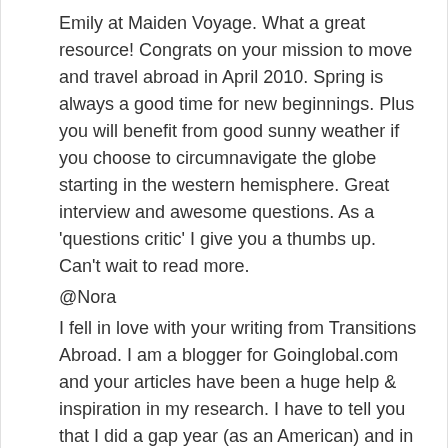Emily at Maiden Voyage. What a great resource! Congrats on your mission to move and travel abroad in April 2010. Spring is always a good time for new beginnings. Plus you will benefit from good sunny weather if you choose to circumnavigate the globe starting in the western hemisphere. Great interview and awesome questions. As a 'questions critic' I give you a thumbs up. Can't wait to read more.
@Nora
I fell in love with your writing from Transitions Abroad. I am a blogger for Goinglobal.com and your articles have been a huge help & inspiration in my research. I have to tell you that I did a gap year (as an American) and in total it came out to $14,000. That includes